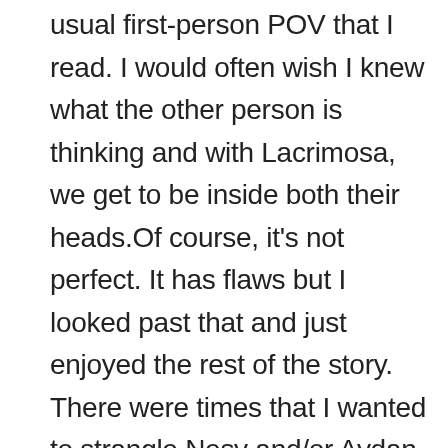usual first-person POV that I read. I would often wish I knew what the other person is thinking and with Lacrimosa, we get to be inside both their heads.Of course, it's not perfect. It has flaws but I looked past that and just enjoyed the rest of the story. There were times that I wanted to strangle Nesy and/or Aydan myself, wanted to bang their heads together or something. I also have questions about some parts of the book, but I'll reserve those questions and ask Ms. Fonseca instead. The ending was heartbreaking. I didn't see it coming, although while I was reading I kept wondering how it will end because it seemed like whatever happens, no one ends up happy. I cried so many times throughout Read more